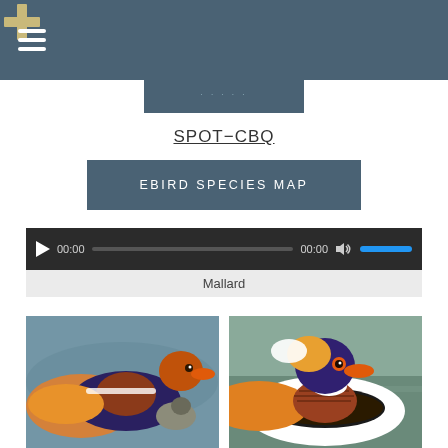Navigation header with hamburger menu and cross/plus logo
SPOT-CBQ
EBIRD SPECIES MAP
[Figure (screenshot): Audio player bar showing 00:00 timestamp, progress bar, speaker icon, and blue volume slider, with label 'Mallard']
[Figure (photo): Two mandarin ducks floating on water — left photo shows two ducks, right photo shows a close-up of one colorful mandarin duck]